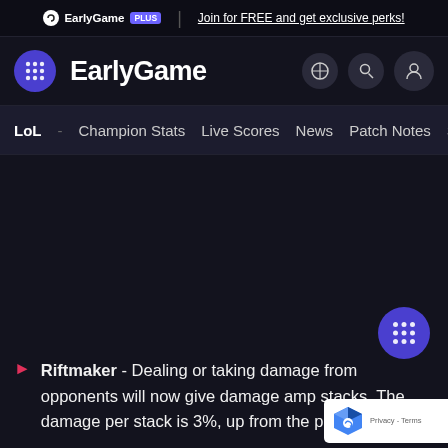EarlyGame PLUS | Join for FREE and get exclusive perks!
EarlyGame
LoL - Champion Stats  Live Scores  News  Patch Notes  Skin
Riftmaker - Dealing or taking damage from opponents will now give damage amp stacks. The damage per stack is 3%, up from the previous 2%.